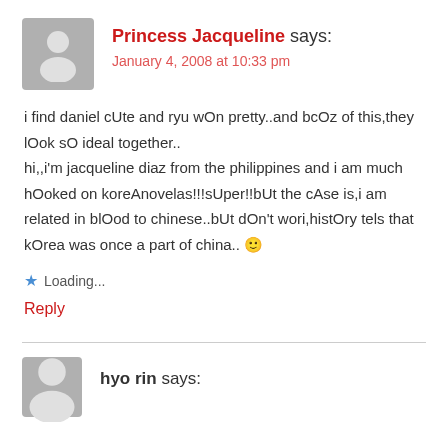Princess Jacqueline says:
January 4, 2008 at 10:33 pm
i find daniel cUte and ryu wOn pretty..and bcOz of this,they lOok sO ideal together..
hi,,i'm jacqueline diaz from the philippines and i am much hOoked on koreAnovelas!!!sUper!!bUt the cAse is,i am related in blOod to chinese..bUt dOn't wori,histOry tels that kOrea was once a part of china.. 🙂
Loading...
Reply
hyo rin says: